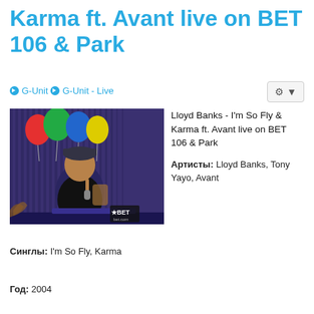Karma ft. Avant live on BET 106 & Park
G-Unit > G-Unit - Live
[Figure (photo): Video thumbnail showing a rapper performing on stage at BET 106 & Park with balloons in the background, bet.com watermark visible]
Lloyd Banks - I'm So Fly & Karma ft. Avant live on BET 106 & Park
Артисты: Lloyd Banks, Tony Yayo, Avant
Синглы: I'm So Fly, Karma
Год: 2004